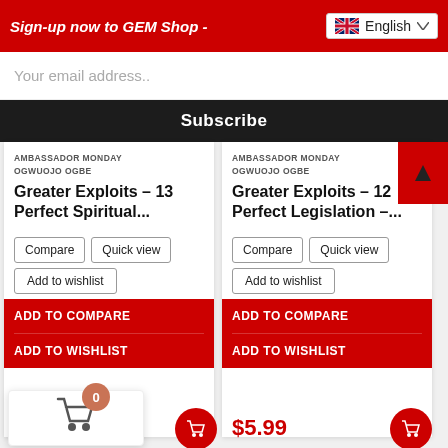Sign-up now to GEM Shop - English
Your email address..
Subscribe
AMBASSADOR MONDAY OGWUOJO OGBE
Greater Exploits – 13 Perfect Spiritual...
Compare | Quick view | Add to wishlist
ADD TO COMPARE
ADD TO WISHLIST
AMBASSADOR MONDAY OGWUOJO OGBE
Greater Exploits – 12 Perfect Legislation –...
Compare | Quick view | Add to wishlist
ADD TO COMPARE
ADD TO WISHLIST
$5.99